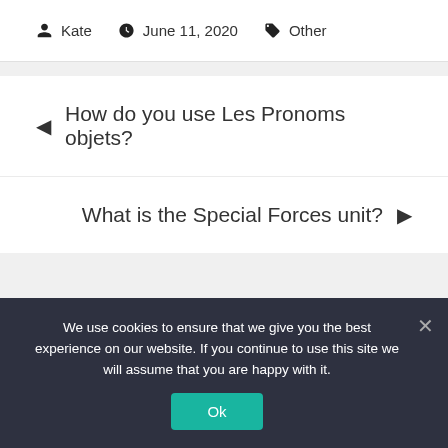Kate  June 11, 2020  Other
◄ How do you use Les Pronoms objets?
What is the Special Forces unit? ►
We use cookies to ensure that we give you the best experience on our website. If you continue to use this site we will assume that you are happy with it.
Ok